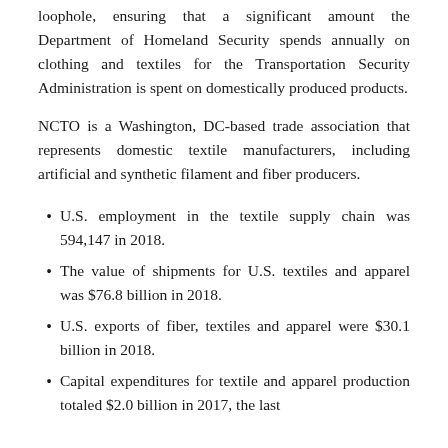loophole, ensuring that a significant amount the Department of Homeland Security spends annually on clothing and textiles for the Transportation Security Administration is spent on domestically produced products.
NCTO is a Washington, DC-based trade association that represents domestic textile manufacturers, including artificial and synthetic filament and fiber producers.
U.S. employment in the textile supply chain was 594,147 in 2018.
The value of shipments for U.S. textiles and apparel was $76.8 billion in 2018.
U.S. exports of fiber, textiles and apparel were $30.1 billion in 2018.
Capital expenditures for textile and apparel production totaled $2.0 billion in 2017, the last